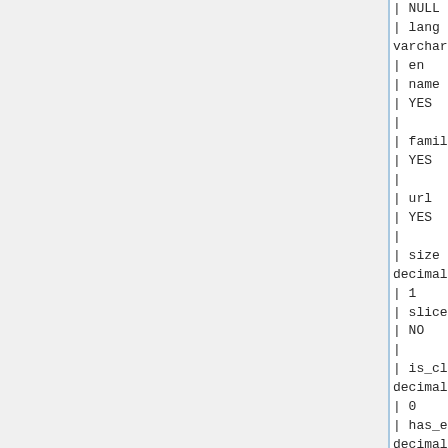| NULL      |            |
| lang                      | varchar(12) | NO    |
| en        |            |
| name                      | text
| YES    |            | NULL      |
|
| family                    | text
| YES    |            | NULL      |
|
| url                       | text
| YES    |            | NULL      |
|
| size                      |
  decimal(1,0) | NO    |
| 1         |            |
| slice                     | text
| NO     |            | NULL      |
|
| is_closed                 |
  decimal(1,0) | NO    |
| 0         |            |
| has_echo                  |
  decimal(1,0) | NO    |
| 0         |            |